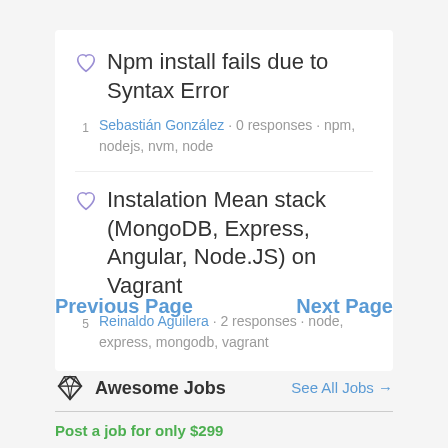Npm install fails due to Syntax Error — Sebastián González · 0 responses · npm, nodejs, nvm, node
Instalation Mean stack (MongoDB, Express, Angular, Node.JS) on Vagrant — Reinaldo Aguilera · 2 responses · node, express, mongodb, vagrant
Previous Page
Next Page
Awesome Jobs
See All Jobs →
Post a job for only $299